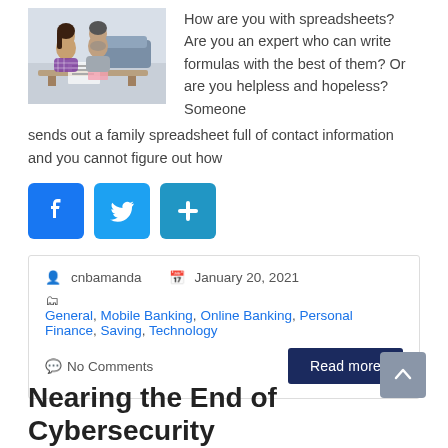How are you with spreadsheets? Are you an expert who can write formulas with the best of them? Or are you helpless and hopeless? Someone sends out a family spreadsheet full of contact information and you cannot figure out how
[Figure (photo): Photo of a man and woman sitting together at a table, looking at documents or a laptop, with a sofa visible in the background.]
[Figure (infographic): Social share buttons: Facebook (blue with f icon), Twitter (blue with bird icon), and a share/plus button (blue with + icon).]
cnbamanda   January 20, 2021
General, Mobile Banking, Online Banking, Personal Finance, Saving, Technology
No Comments
Nearing the End of Cybersecurity